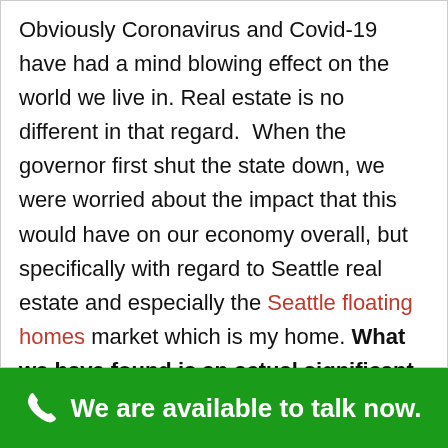Obviously Coronavirus and Covid-19 have had a mind blowing effect on the world we live in. Real estate is no different in that regard. When the governor first shut the state down, we were worried about the impact that this would have on our economy overall, but specifically with regard to Seattle real estate and especially the Seattle floating homes market which is my home. What we have found is an actual significant uptick in the Seattle
We are available to talk now.